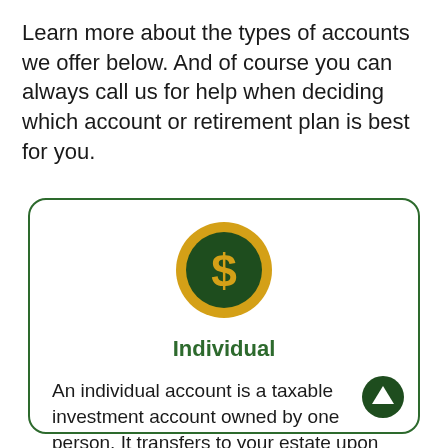Learn more about the types of accounts we offer below. And of course you can always call us for help when deciding which account or retirement plan is best for you.
[Figure (illustration): A circular coin icon with a gold/yellow outer ring and dark green center, containing a yellow dollar sign symbol.]
Individual
An individual account is a taxable investment account owned by one person. It transfers to your estate upon death.
[Figure (illustration): Dark green circular button with a white upward-pointing arrow, positioned at the bottom-right corner of the card.]